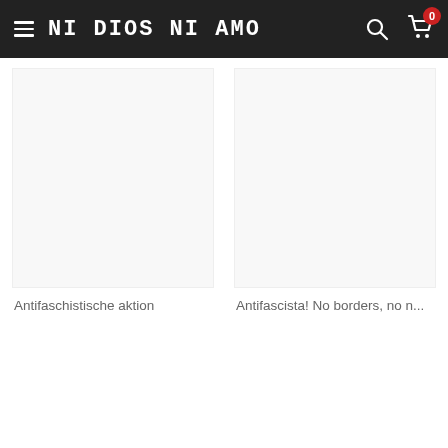NI DIOS NI AMO
Antifaschistische aktion
Antifascista! No borders, no n...